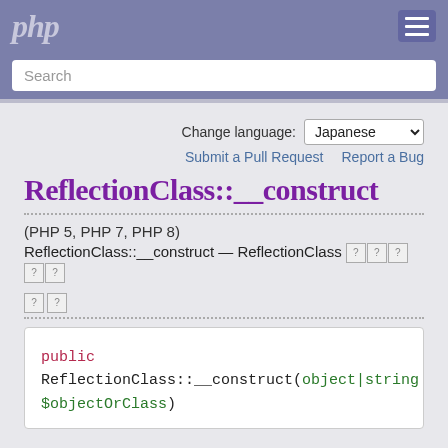php
Search
Change language: Japanese
Submit a Pull Request  Report a Bug
ReflectionClass::__construct
(PHP 5, PHP 7, PHP 8)
ReflectionClass::__construct — ReflectionClass [tofu chars]
[tofu chars]
public ReflectionClass::__construct(object|string $objectOrClass)